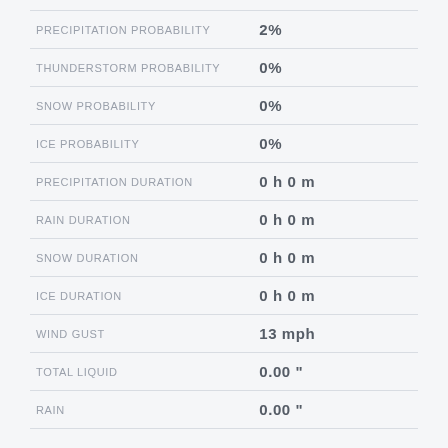| Metric | Value |
| --- | --- |
| PRECIPITATION PROBABILITY | 2% |
| THUNDERSTORM PROBABILITY | 0% |
| SNOW PROBABILITY | 0% |
| ICE PROBABILITY | 0% |
| PRECIPITATION DURATION | 0 h 0 m |
| RAIN DURATION | 0 h 0 m |
| SNOW DURATION | 0 h 0 m |
| ICE DURATION | 0 h 0 m |
| WIND GUST | 13 mph |
| TOTAL LIQUID | 0.00 " |
| RAIN | 0.00 " |